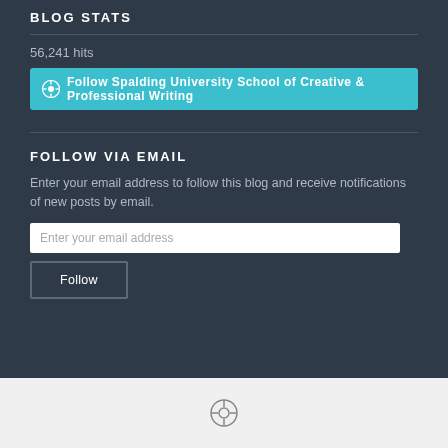BLOG STATS
56,241 hits
[Figure (other): WordPress Follow button: Follow Spalding University School of Creative & Professional Writing]
FOLLOW VIA EMAIL
Enter your email address to follow this blog and receive notifications of new posts by email.
[Figure (other): Email input field with placeholder text 'Enter your email address']
[Figure (other): Follow button]
[Figure (logo): WordPress logo at bottom of page]